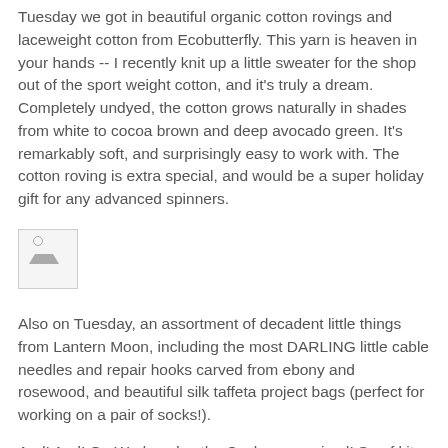Tuesday we got in beautiful organic cotton rovings and laceweight cotton from Ecobutterfly. This yarn is heaven in your hands -- I recently knit up a little sweater for the shop out of the sport weight cotton, and it's truly a dream. Completely undyed, the cotton grows naturally in shades from white to cocoa brown and deep avocado green. It's remarkably soft, and surprisingly easy to work with. The cotton roving is extra special, and would be a super holiday gift for any advanced spinners.
[Figure (photo): Small broken image placeholder icon, approximately 58x58 pixels with a border]
Also on Tuesday, an assortment of decadent little things from Lantern Moon, including the most DARLING little cable needles and repair hooks carved from ebony and rosewood, and beautiful silk taffeta project bags (perfect for working on a pair of socks!).
And! And! On Wednesday the Cashmere arrived! Scarf kits from Jade Sapphire that include enough Cashmere for a great big, warm, scarf, and a book of seven patterns to choose from. The cashmere is absolutely divine inside